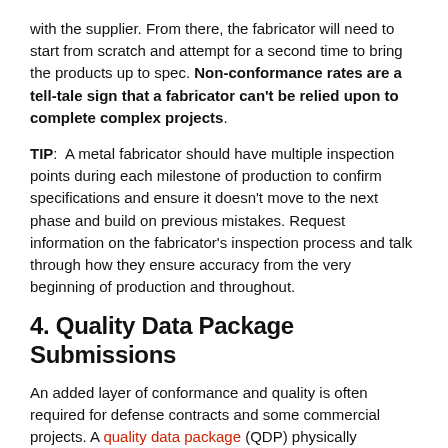with the supplier. From there, the fabricator will need to start from scratch and attempt for a second time to bring the products up to spec. Non-conformance rates are a tell-tale sign that a fabricator can't be relied upon to complete complex projects.
TIP: A metal fabricator should have multiple inspection points during each milestone of production to confirm specifications and ensure it doesn't move to the next phase and build on previous mistakes. Request information on the fabricator's inspection process and talk through how they ensure accuracy from the very beginning of production and throughout.
4. Quality Data Package Submissions
An added layer of conformance and quality is often required for defense contracts and some commercial projects. A quality data package (QDP) physically documents all the processes, certifications, inspections,